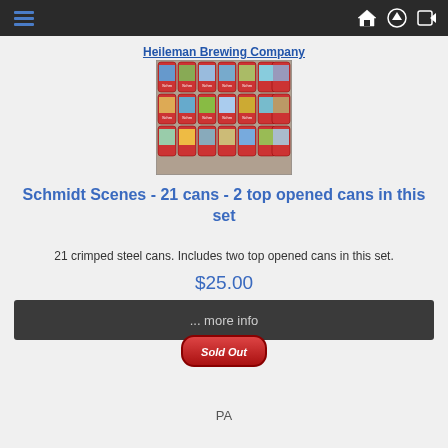Navigation bar with hamburger menu and icons
Heileman Brewing Company
[Figure (photo): Rows of Schmidt beer cans with scenic outdoor artwork labels arranged in a grid display]
Schmidt Scenes - 21 cans - 2 top opened cans in this set
21 crimped steel cans. Includes two top opened cans in this set.
$25.00
... more info
Sold Out
PA